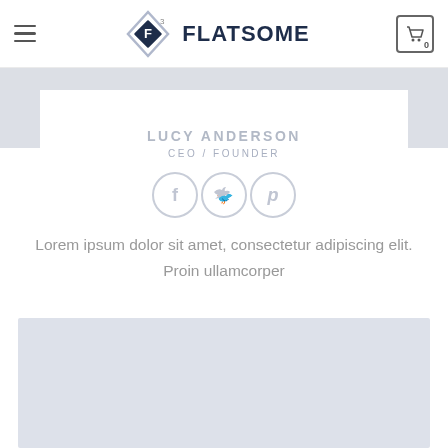Flatsome — Navigation header with hamburger menu and cart icon showing 0
LUCY ANDERSON
CEO / FOUNDER
[Figure (illustration): Three circular social media icons: Facebook (f), Twitter (bird), Pinterest (p) — outlined circles in light gray]
Lorem ipsum dolor sit amet, consectetur adipiscing elit. Proin ullamcorper
[Figure (photo): Large light blue-gray placeholder image block]